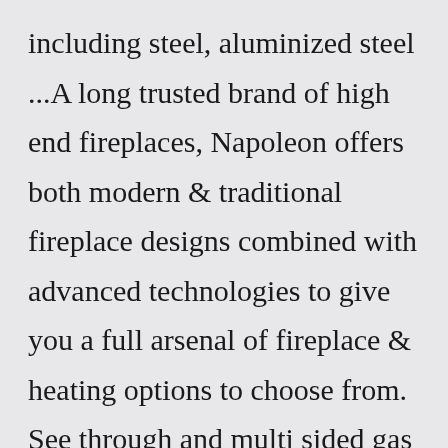including steel, aluminized steel ...A long trusted brand of high end fireplaces, Napoleon offers both modern & traditional fireplace designs combined with advanced technologies to give you a full arsenal of fireplace & heating options to choose from. See through and multi sided gas fireplaces offer a steady and hassle free heat and can be the highlight of any living room.Venting. Like a wood-burning fireplace, woodstove